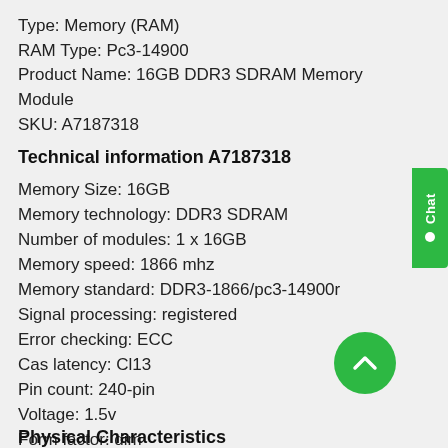Type: Memory (RAM)
RAM Type: Pc3-14900
Product Name: 16GB DDR3 SDRAM Memory Module
SKU: A7187318
Technical information A7187318
Memory Size: 16GB
Memory technology: DDR3 SDRAM
Number of modules: 1 x 16GB
Memory speed: 1866 mhz
Memory standard: DDR3-1866/pc3-14900r
Signal processing: registered
Error checking: ECC
Cas latency: Cl13
Pin count: 240-pin
Voltage: 1.5v
Form factor: dim
Physical Characteristics